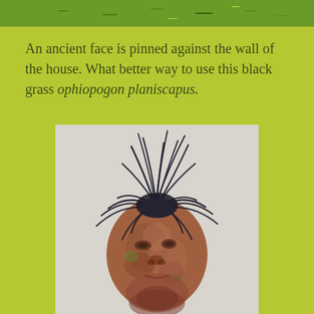[Figure (photo): Top portion of photograph showing green plants/foliage against a wall, cropped at top of page]
An ancient face is pinned against the wall of the house. What better way to use this black grass ophiopogon planiscapus.
[Figure (photo): A terracotta face sculpture mounted on a wall, with dark black grass (ophiopogon planiscapus) growing from the top like wild hair]